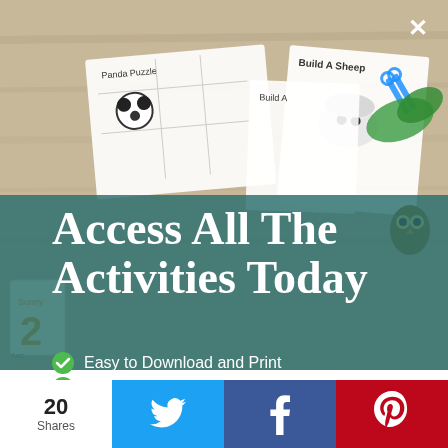[Figure (photo): Background photo of children's educational activity worksheets, crafts, and printables spread on a wooden table, including panda puzzle, Build A Sheep craft, word cards, and colorful educational materials]
Access All The Activities Today
Easy to Download and Print
Access the Entire Library
Crafts, Worksheets, Games and more
High Quality Printables
More Added Each Month
Unbeatable Value
20 Shares
[Figure (logo): Twitter bird icon (white) on blue background]
[Figure (logo): Facebook f icon (white) on dark blue background]
[Figure (logo): Pinterest P icon (white) on red background]